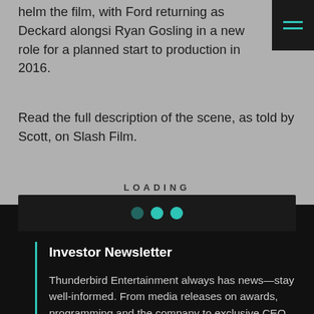helm the film, with Ford returning as Deckard alongside Ryan Gosling in a new role for a planned start to production in 2016.
Read the full description of the scene, as told by Scott, on Slash Film.
LOADING
[Figure (other): Three teal dots indicating loading state — two dimmed and one bright]
Investor Newsletter
Thunderbird Entertainment always has news—stay well-informed. From media releases on awards, programming and the company to exclusive CEO updates,